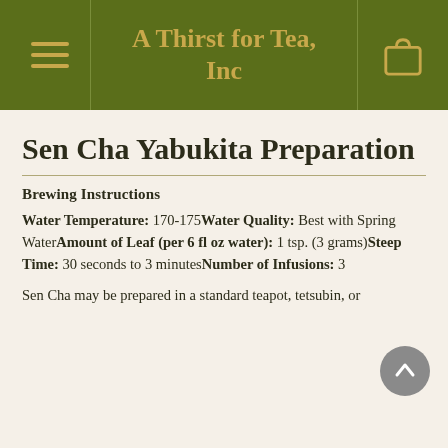A Thirst for Tea, Inc
Sen Cha Yabukita Preparation
Brewing Instructions
Water Temperature: 170-175Water Quality: Best with Spring WaterAmount of Leaf (per 6 fl oz water): 1 tsp. (3 grams)Steep Time: 30 seconds to 3 minutesNumber of Infusions: 3
Sen Cha may be prepared in a standard teapot, tetsubin, or